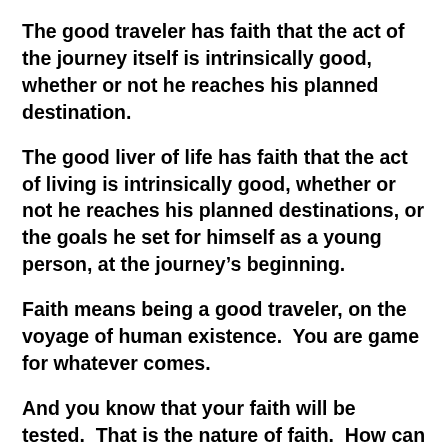The good traveler has faith that the act of the journey itself is intrinsically good, whether or not he reaches his planned destination.
The good liver of life has faith that the act of living is intrinsically good, whether or not he reaches his planned destinations, or the goals he set for himself as a young person, at the journey's beginning.
Faith means being a good traveler, on the voyage of human existence.  You are game for whatever comes.
And you know that your faith will be tested.  That is the nature of faith.  How can you develop it, if you are not tested?
Believe it or not, there is a part of you that wants all the…